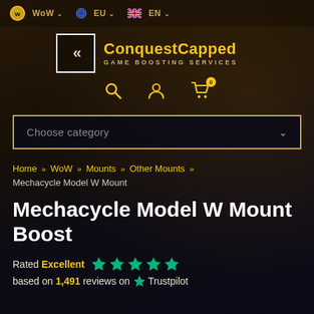WoW  EU  EN
[Figure (logo): ConquestCapped logo with double chevron icon and text 'ConquestCapped GAME BOOSTING SERVICES']
Choose category
Home >> WoW >> Mounts >> Other Mounts >> Mechacycle Model W Mount
Mechacycle Model W Mount Boost
Rated Excellent  ★★★★★
based on 1,491 reviews on Trustpilot